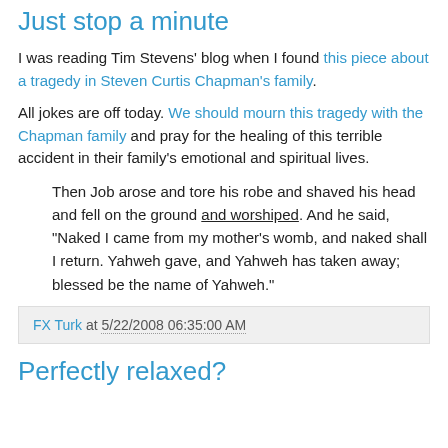Just stop a minute
I was reading Tim Stevens' blog when I found this piece about a tragedy in Steven Curtis Chapman's family.
All jokes are off today. We should mourn this tragedy with the Chapman family and pray for the healing of this terrible accident in their family's emotional and spiritual lives.
Then Job arose and tore his robe and shaved his head and fell on the ground and worshiped. And he said, "Naked I came from my mother's womb, and naked shall I return. Yahweh gave, and Yahweh has taken away; blessed be the name of Yahweh."
FX Turk at 5/22/2008 06:35:00 AM
Perfectly relaxed?